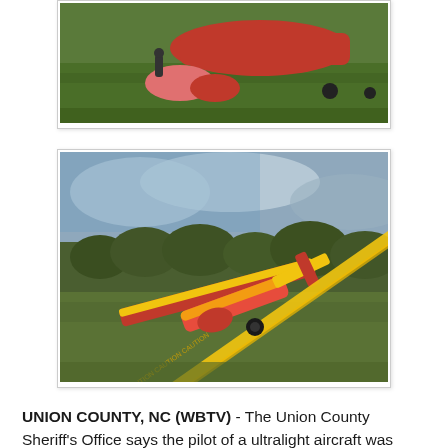[Figure (photo): Partial view of a crashed ultralight aircraft with red canopy/fuselage on green grass, person visible at top.]
[Figure (photo): Crashed red and yellow ultralight aircraft lying on its side on a grass field, with yellow caution tape in foreground and trees in background.]
UNION COUNTY, NC (WBTV) - The Union County Sheriff's Office says the pilot of a ultralight aircraft was taken to the hospital after crashing in Union County.
The crash reportedly happened near Poplin Road around